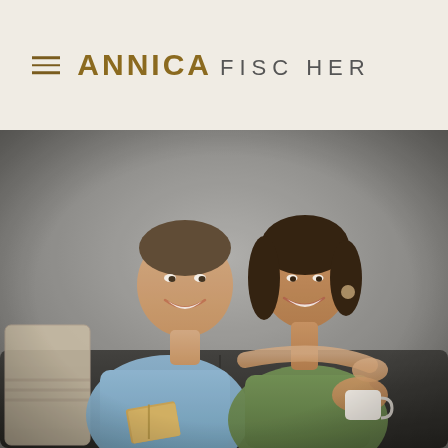ANNICA FISCHER
[Figure (photo): A smiling couple sitting on a dark sofa. A man in a light blue button-up shirt holds a book and sits beside a woman in an olive green dress who holds a white mug. They are looking downward and smiling. The background is a light grey wall.]